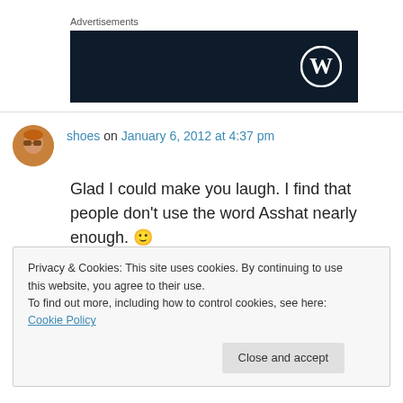Advertisements
[Figure (logo): WordPress advertisement banner — dark navy background with WordPress logo (W in circle) on the right]
shoes on January 6, 2012 at 4:37 pm
Glad I could make you laugh. I find that people don't use the word Asshat nearly enough. 🙂
Privacy & Cookies: This site uses cookies. By continuing to use this website, you agree to their use. To find out more, including how to control cookies, see here: Cookie Policy